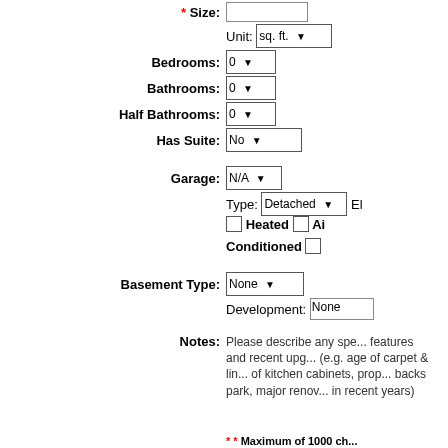* Size:
Unit: sq. ft.
Bedrooms: 0
Bathrooms: 0
Half Bathrooms: 0
Has Suite: No
Garage: N/A
Type: Detached  El...
Heated  Ai... Conditioned
Basement Type: None
Development: None
Notes: Please describe any spe... features and recent upg... (e.g. age of carpet & lin... of kitchen cabinets, prop... backs park, major renov... in recent years)
** Maximum of 1000 ch...